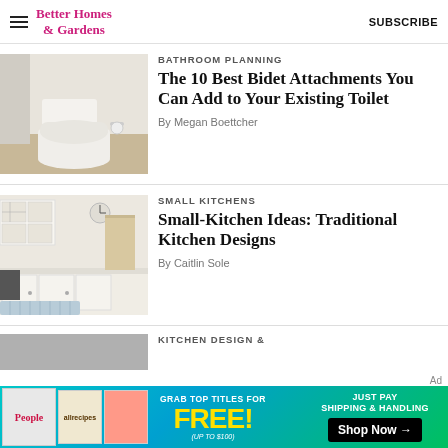Better Homes & Gardens | SUBSCRIBE
BATHROOM PLANNING
[Figure (photo): White toilet with bidet attachment in a bathroom setting]
The 10 Best Bidet Attachments You Can Add to Your Existing Toilet
By Megan Boettcher
SMALL KITCHENS
[Figure (photo): White traditional small kitchen with cabinets, clock, and blue rug]
Small-Kitchen Ideas: Traditional Kitchen Designs
By Caitlin Sole
KITCHEN DESIGN &
[Figure (photo): Advertisement banner: Grab top titles for FREE! Just pay shipping & handling. Shop Now. Shows People and allrecipes magazines.]